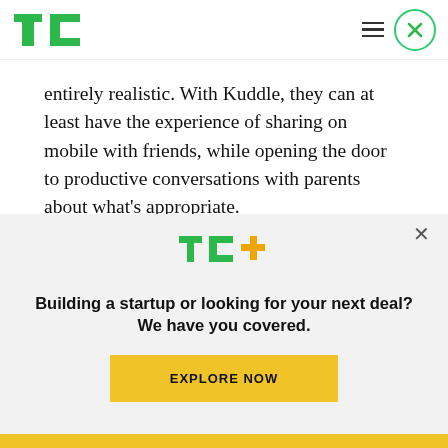TechCrunch logo and navigation
entirely realistic. With Kuddle, they can at least have the experience of sharing on mobile with friends, while opening the door to productive conversations with parents about what’s appropriate.
Kuddle, I feel, comes just in time for today’s youngest generation, as the kids of Millennials and
[Figure (logo): TC+ logo in green and yellow/orange]
Building a startup or looking for your next deal? We have you covered.
EXPLORE NOW